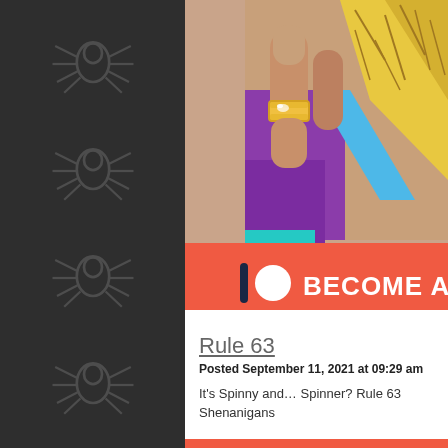[Figure (illustration): Dark sidebar with spider web/spider icons repeated vertically on a charcoal background]
[Figure (illustration): Comic book style illustration showing a close-up of hands with a gold ring on one finger, purple and teal glove or costume detail, and a yellow cracked texture item. Below is a Patreon banner in orange-red with Patreon logo and text 'BECOME A']
Rule 63
Posted September 11, 2021 at 09:29 am
It's Spinny and... Spinner?  Rule 63 Shenanigans